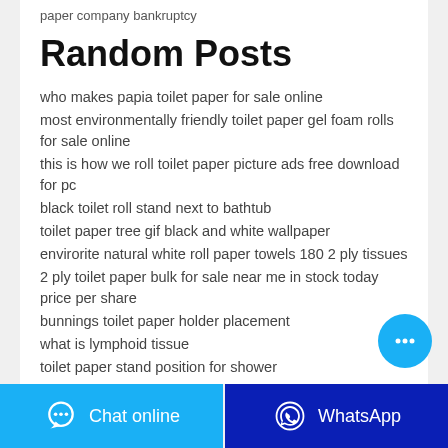paper company bankruptcy
Random Posts
who makes papia toilet paper for sale online
most environmentally friendly toilet paper gel foam rolls for sale online
this is how we roll toilet paper picture ads free download for pc
black toilet roll stand next to bathtub
toilet paper tree gif black and white wallpaper
envirorite natural white roll paper towels 180 2 ply tissues
2 ply toilet paper bulk for sale near me in stock today price per share
bunnings toilet paper holder placement
what is lymphoid tissue
toilet paper stand position for shower
[Figure (other): Blue circular chat bubble button with ellipsis icon]
[Figure (other): Footer with two buttons: Chat online (light blue) and WhatsApp (dark blue)]